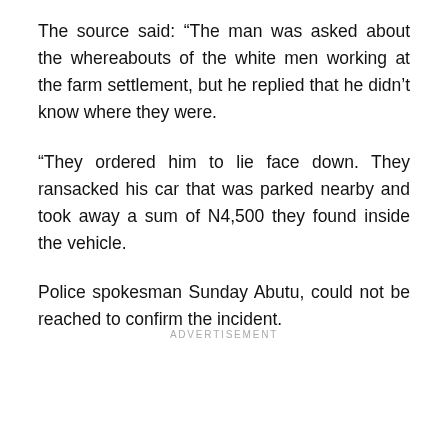The source said: “The man was asked about the whereabouts of the white men working at the farm settlement, but he replied that he didn’t know where they were.
“They ordered him to lie face down. They ransacked his car that was parked nearby and took away a sum of N4,500 they found inside the vehicle.
Police spokesman Sunday Abutu, could not be reached to confirm the incident.
ADVERTISEMENT